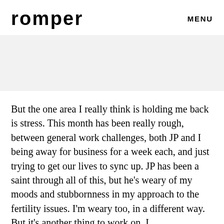romper   MENU
[Figure (other): Gray rectangular banner/advertisement area]
But the one area I really think is holding me back is stress. This month has been really rough, between general work challenges, both JP and I being away for business for a week each, and just trying to get our lives to sync up. JP has been a saint through all of this, but he's weary of my moods and stubbornness in my approach to the fertility issues. I'm weary too, in a different way. But it's another thing to work on, I